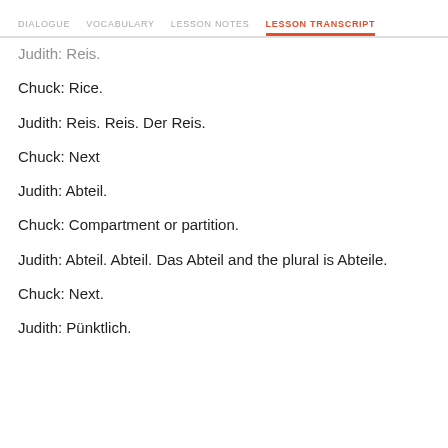DIALOGUE  VOCABULARY  LESSON NOTES  LESSON TRANSCRIPT
Judith: Reis.
Chuck: Rice.
Judith: Reis. Reis. Der Reis.
Chuck: Next
Judith: Abteil.
Chuck: Compartment or partition.
Judith: Abteil. Abteil. Das Abteil and the plural is Abteile.
Chuck: Next.
Judith: Pünktlich.